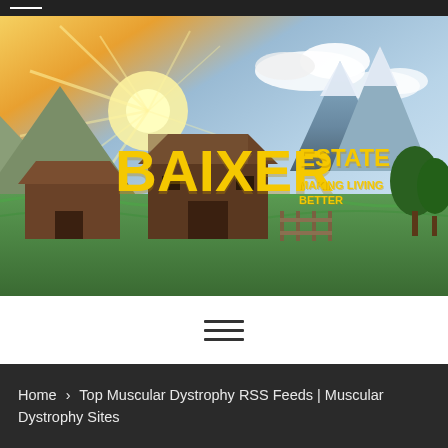[Figure (photo): Hero banner image showing a rustic wooden barn in a mountain landscape with dramatic sunlight rays, mountains with snow-capped peaks, green grass field, and sky with clouds. Overlaid with the Baixer Estate logo in yellow/gold distressed font with text 'BAIXER ESTATE MAKING LIVING BETTER'.]
[Figure (logo): Baixer Estate logo: 'BAIXER' in large yellow distressed bold font, 'ESTATE' in smaller yellow bold font, tagline 'MAKING LIVING BETTER' in yellow bold font]
≡ (hamburger menu icon)
Home > Top Muscular Dystrophy RSS Feeds | Muscular Dystrophy Sites